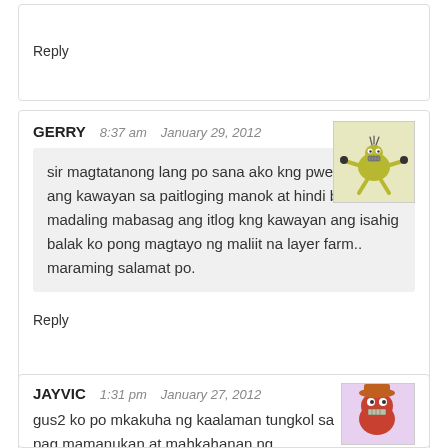Reply
GERRY   8:37 am   January 29, 2012
sir magtatanong lang po sana ako kng pwede isahig ang kawayan sa paitloging manok at hindi ba madaling mabasag ang itlog kng kawayan ang isahig balak ko pong magtayo ng maliit na layer farm.. maraming salamat po.
Reply
JAYVIC   1:31 pm   January 27, 2012
gus2 ko po mkakuha ng kaalaman tungkol sa pag mamanukan at mahkahanan ng mauupahan